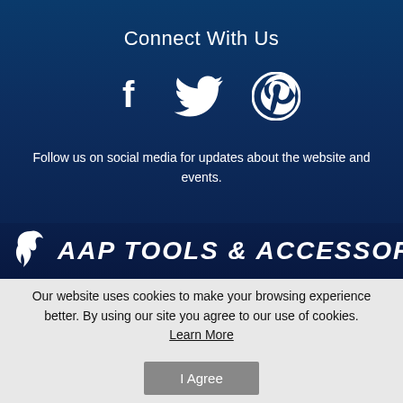Connect With Us
[Figure (infographic): Social media icons: Facebook (f), Twitter (bird), Pinterest (P circle)]
Follow us on social media for updates about the website and events.
[Figure (logo): AAP Tools & Accessories logo with stylized swoosh icon]
Our website uses cookies to make your browsing experience better. By using our site you agree to our use of cookies. Learn More
I Agree